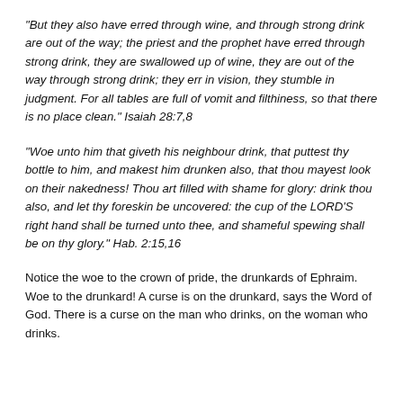“But they also have erred through wine, and through strong drink are out of the way; the priest and the prophet have erred through strong drink, they are swallowed up of wine, they are out of the way through strong drink; they err in vision, they stumble in judgment. For all tables are full of vomit and filthiness, so that there is no place clean.” Isaiah 28:7,8
“Woe unto him that giveth his neighbour drink, that puttest thy bottle to him, and makest him drunken also, that thou mayest look on their nakedness! Thou art filled with shame for glory: drink thou also, and let thy foreskin be uncovered: the cup of the LORD’S right hand shall be turned unto thee, and shameful spewing shall be on thy glory.” Hab. 2:15,16
Notice the woe to the crown of pride, the drunkards of Ephraim. Woe to the drunkard! A curse is on the drunkard, says the Word of God. There is a curse on the man who drinks, on the woman who drinks.